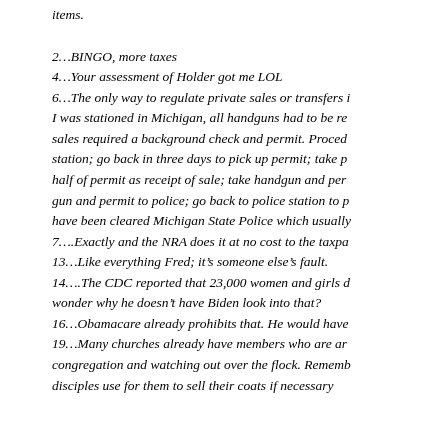items.
2…BINGO, more taxes
4…Your assessment of Holder got me LOL
6…The only way to regulate private sales or transfers i… I was stationed in Michigan, all handguns had to be re… sales required a background check and permit. Proced… station; go back in three days to pick up permit; take p… half of permit as receipt of sale; take handgun and per… gun and permit to police; go back to police station to p… have been cleared Michigan State Police which usually
7….Exactly and the NRA does it at no cost to the taxpa…
13…Like everything Fred; it's someone else's fault.
14….The CDC reported that 23,000 women and girls d… wonder why he doesn't have Biden look into that?
16…Obamacare already prohibits that. He would have
19…Many churches already have members who are ar… congregation and watching out over the flock. Rememb… disciples use for them to sell their coats if necessary